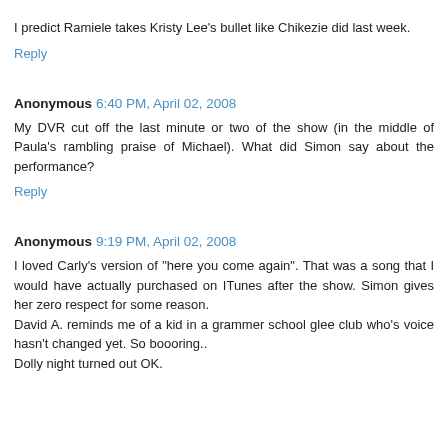I predict Ramiele takes Kristy Lee's bullet like Chikezie did last week.
Reply
Anonymous 6:40 PM, April 02, 2008
My DVR cut off the last minute or two of the show (in the middle of Paula's rambling praise of Michael). What did Simon say about the performance?
Reply
Anonymous 9:19 PM, April 02, 2008
I loved Carly's version of "here you come again". That was a song that I would have actually purchased on ITunes after the show. Simon gives her zero respect for some reason.
David A. reminds me of a kid in a grammer school glee club who's voice hasn't changed yet. So boooring..
Dolly night turned out OK.